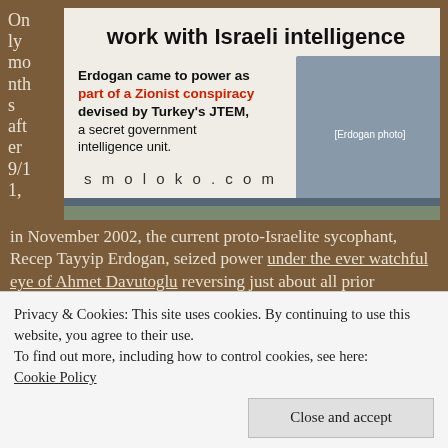Only months after 9/11,
[Figure (illustration): Anti-Semitic conspiracy image with text 'work with Israeli intelligence', 'Erdogan came to power as part of a Zionist conspiracy devised by Turkey's JTEM, a secret government intelligence unit.', 'smoloko.com', alongside a photo of Erdogan and a Star of David symbol.]
in November 2002, the current proto-Israelite sycophant, Recep Tayyip Erdogan, seized power under the ever watchful eye of Ahmet Davutoglu reversing just about all prior
Privacy & Cookies: This site uses cookies. By continuing to use this website, you agree to their use.
To find out more, including how to control cookies, see here:
Cookie Policy
Close and accept